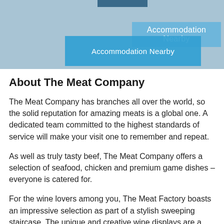[Figure (screenshot): Header area with blue/grey background and two overlapping 'Accommodation Nearby' button/banner elements in lighter blue]
About The Meat Company
The Meat Company has branches all over the world, so the solid reputation for amazing meats is a global one. A dedicated team committed to the highest standards of service will make your visit one to remember and repeat.
As well as truly tasty beef, The Meat Company offers a selection of seafood, chicken and premium game dishes – everyone is catered for.
For the wine lovers among you, The Meat Factory boasts an impressive selection as part of a stylish sweeping staircase. The unique and creative wine displays are a signature feature of The Meat Company and Melrose Arch is no exception, featuring over 3000 bottles.